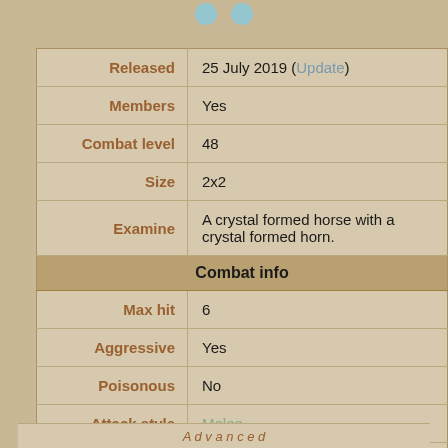| Field | Value |
| --- | --- |
| Released | 25 July 2019 (Update) |
| Members | Yes |
| Combat level | 48 |
| Size | 2x2 |
| Examine | A crystal formed horse with a crystal formed horn. |
| Combat info |  |
| Max hit | 6 |
| Aggressive | Yes |
| Poisonous | No |
| Attack style | Melee |
| Attack speed | Speed: 4  Interval: 2.4 secs. |